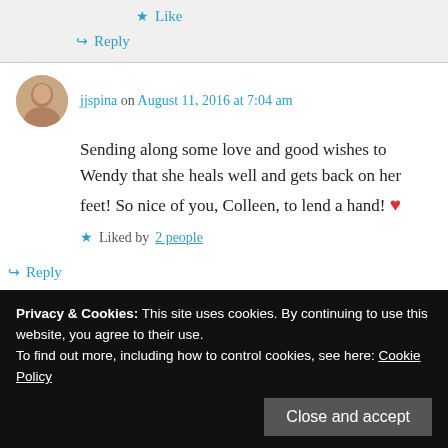Like
Reply
jjspina on August 11, 2016 at 7:04 am
Sending along some love and good wishes to Wendy that she heals well and gets back on her feet! So nice of you, Colleen, to lend a hand! ❤
Liked by 2 people
Reply
Privacy & Cookies: This site uses cookies. By continuing to use this website, you agree to their use. To find out more, including how to control cookies, see here: Cookie Policy
Close and accept
Thanks for your well wishes. We take care